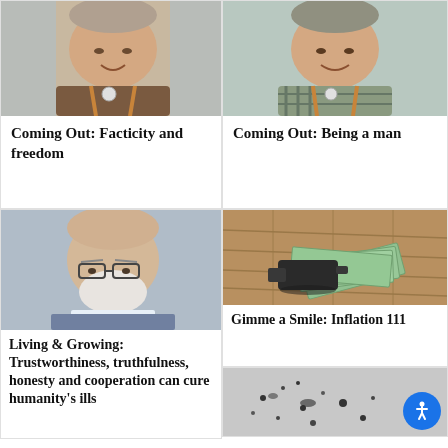[Figure (photo): Elderly person with suspenders and badge, smiling, article: Coming Out: Facticity and freedom]
Coming Out: Facticity and freedom
[Figure (photo): Elderly person with suspenders and badge, smiling, article: Coming Out: Being a man]
Coming Out: Being a man
[Figure (photo): Bald man with white beard and glasses, blue background, article: Living & Growing]
Living & Growing: Trustworthiness, truthfulness, honesty and cooperation can cure humanity's ills
[Figure (photo): Vacuum cleaner nozzle sucking up dollar bills on wooden floor, article: Gimme a Smile: Inflation 111]
Gimme a Smile: Inflation 111
[Figure (photo): Partial view of another article image, bottom right of page]